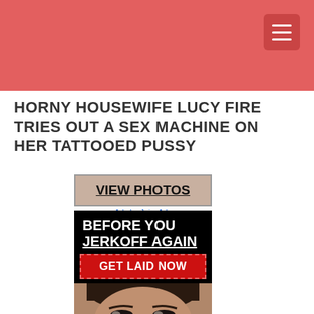HORNY HOUSEWIFE LUCY FIRE TRIES OUT A SEX MACHINE ON HER TATTOOED PUSSY
[Figure (photo): Advertisement banner: VIEW PHOTOS with Ads by JuicyAds label]
[Figure (photo): Advertisement banner: BEFORE YOU JERKOFF AGAIN GET LAID NOW with woman's face photo]
[Figure (photo): Close-up photo of woman's face, partially visible]